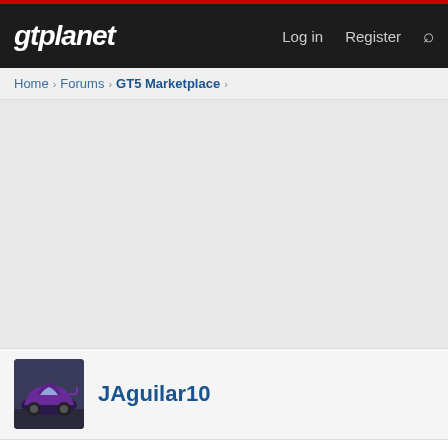gtplanet  Log in  Register
Home > Forums > GT5 Marketplace >
[Figure (other): Advertisement banner placeholder area, gray background]
JAguilar10
Jul 17, 2012  #11
I was wondering if you have the xavani Hiroto gtr?